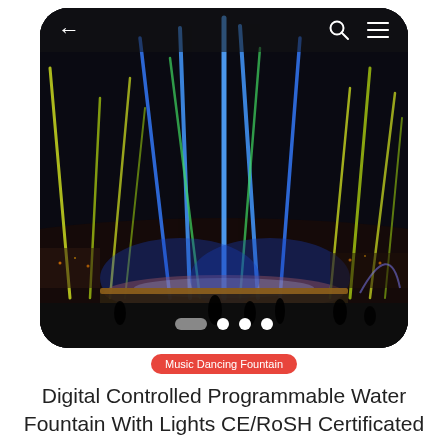[Figure (screenshot): Smartphone app screenshot showing a colorful illuminated music dancing fountain at night with blue, green, and yellow water jets. Top bar has back arrow, search icon, and menu icon. Bottom of phone has navigation dots.]
Music Dancing Fountain
Digital Controlled Programmable Water Fountain With Lights CE/RoSH Certificated